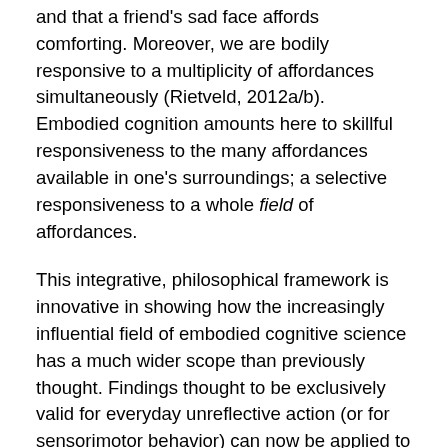and that a friend's sad face affords comforting. Moreover, we are bodily responsive to a multiplicity of affordances simultaneously (Rietveld, 2012a/b). Embodied cognition amounts here to skillful responsiveness to the many affordances available in one's surroundings; a selective responsiveness to a whole field of affordances.
This integrative, philosophical framework is innovative in showing how the increasingly influential field of embodied cognitive science has a much wider scope than previously thought. Findings thought to be exclusively valid for everyday unreflective action (or for sensorimotor behavior) can now be applied to skilled 'higher' cognition, or better, expert intuition (project 1). We will also show concrete, real-world applications in the domains of architecture (project 2) and psychiatry (project 3 on Deep Brain